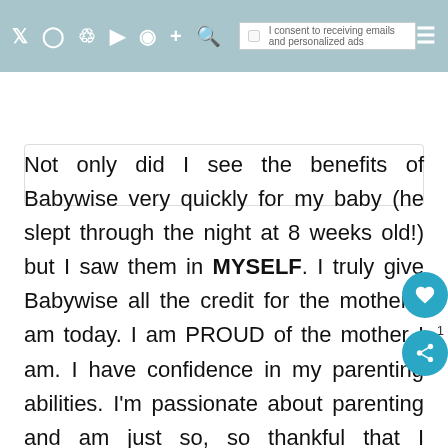Social media / blog page header with icons and consent checkbox
Not only did I see the benefits of Babywise very quickly for my baby (he slept through the night at 8 weeks old!) but I saw them in MYSELF. I truly give Babywise all the credit for the mother I am today. I am PROUD of the mother I am. I have confidence in my parenting abilities. I'm passionate about parenting and am just so, so thankful that I discovered Babywise. It's given me a confidence and a purpose I feared I'd never find during those early days of parenting. I simply cannot imagine my life